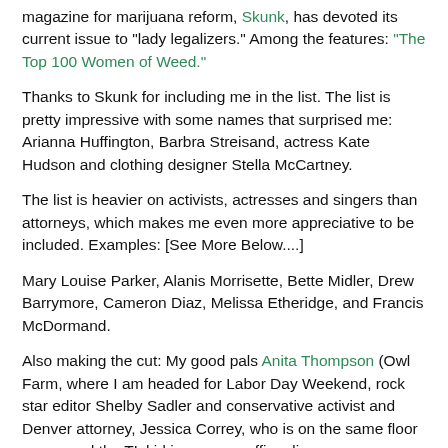magazine for marijuana reform, Skunk, has devoted its current issue to "lady legalizers." Among the features: "The Top 100 Women of Weed."
Thanks to Skunk for including me in the list. The list is pretty impressive with some names that surprised me: Arianna Huffington, Barbra Streisand, actress Kate Hudson and clothing designer Stella McCartney.
The list is heavier on activists, actresses and singers than attorneys, which makes me even more appreciative to be included. Examples: [See More Below....]
Mary Louise Parker, Alanis Morrisette, Bette Midler, Drew Barrymore, Cameron Diaz, Melissa Etheridge, and Francis McDormand.
Also making the cut: My good pals Anita Thompson (Owl Farm, where I am headed for Labor Day Weekend, rock star editor Shelby Sadler and conservative activist and Denver attorney, Jessica Correy, who is on the same floor as me and the TL kid in our new office digs.
For women who want to get more involved in legalization efforts, I